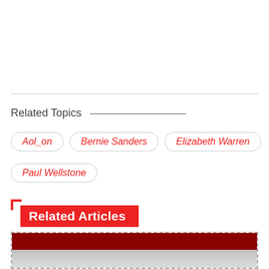Related Topics
Aol_on
Bernie Sanders
Elizabeth Warren
Paul Wellstone
Related Articles
[Figure (photo): Partial image of an article card showing a dark red and grey banner image at the bottom of the page.]